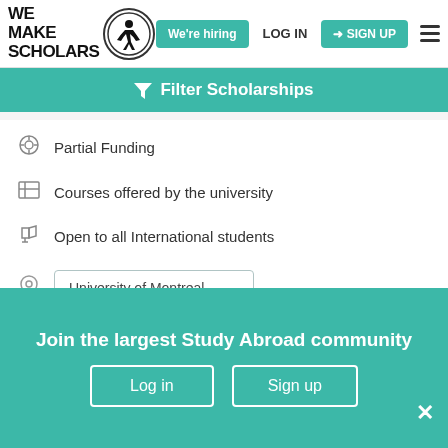[Figure (logo): We Make Scholars logo with circular emblem and silhouette figure]
We're hiring
LOG IN
SIGN UP
Filter Scholarships
Partial Funding
Courses offered by the university
Open to all International students
University of Montreal
Shortlist
View & Apply
Join the largest Study Abroad community
Log in
Sign up